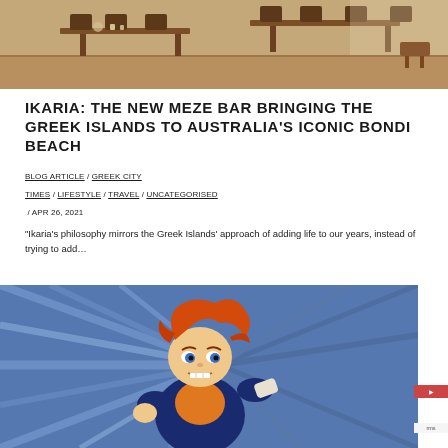[Figure (photo): Interior of a restaurant with wooden tables and chairs, warm toned lighting]
IKARIA: THE NEW MEZE BAR BRINGING THE GREEK ISLANDS TO AUSTRALIA'S ICONIC BONDI BEACH
BLOG ARTICLE / GREEK CITY TIMES / LIFESTYLE / TRAVEL / UNCATEGORISED / APR 26, 2021
“Ikaria’s philosophy mirrors the Greek Islands’ approach of adding life to our years, instead of trying to add…
[Figure (illustration): Animated character with orange hair in a fighting pose, wearing a dark blue outfit, against a blue background with speed lines]